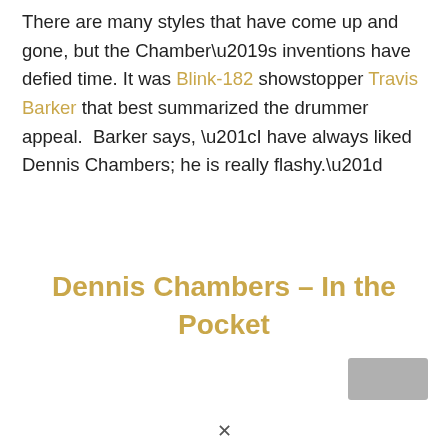There are many styles that have come up and gone, but the Chamber's inventions have defied time. It was Blink-182 showstopper Travis Barker that best summarized the drummer appeal. Barker says, “I have always liked Dennis Chambers; he is really flashy.”
Dennis Chambers – In the Pocket